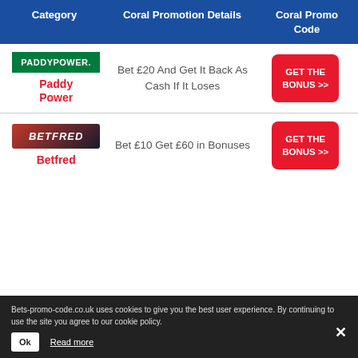| Category | Coral Promotion Details | Coral Promo Code |
| --- | --- | --- |
| Paddy Power | Bet £20 And Get It Back As Cash If It Loses | GET THE BONUS >> |
| Betfred | Bet £10 Get £60 in Bonuses | GET THE BONUS >> |
Bets-promo-code.co.uk uses cookies to give you the best user experience. By continuing to use the site you agree to our cookie policy.